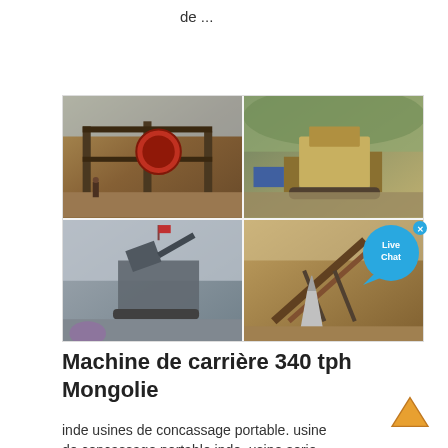de ...
[Figure (photo): Four-photo collage of mining/quarry crusher machinery at various sites. Top-left: industrial jaw crusher on elevated platform with workers. Top-right: mobile cone crusher in rocky quarry terrain. Bottom-left: mobile crusher unit with red flag in misty outdoor setting. Bottom-right: cone crusher and conveyor belt machinery at quarry site. A Live Chat bubble overlay appears at top-right of the collage.]
Machine de carrière 340 tph Mongolie
inde usines de concassage portable. usine de concassage portable inde. usine serie de ...